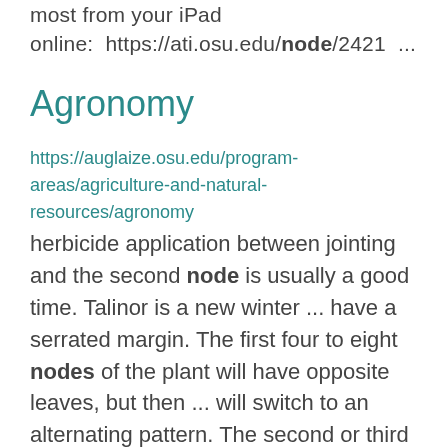most from your iPad online: https://ati.osu.edu/node/2421 ...
Agronomy
https://auglaize.osu.edu/program-areas/agriculture-and-natural-resources/agronomy
herbicide application between jointing and the second node is usually a good time. Talinor is a new winter ... have a serrated margin. The first four to eight nodes of the plant will have opposite leaves, but then ... will switch to an alternating pattern. The second or third node and all subsequent leaves will usually ...